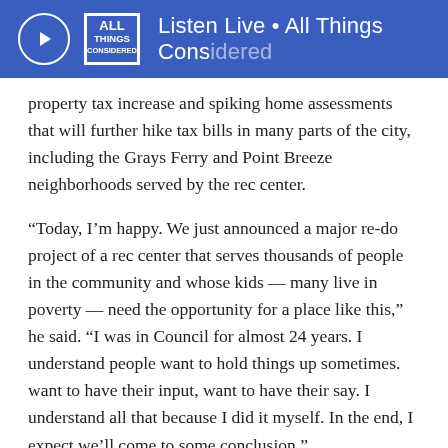Listen Live • All Things Considered
property tax increase and spiking home assessments that will further hike tax bills in many parts of the city, including the Grays Ferry and Point Breeze neighborhoods served by the rec center.
“Today, I’m happy. We just announced a major re-do project of a rec center that serves thousands of people in the community and whose kids — many live in poverty — need the opportunity for a place like this,” he said. “I was in Council for almost 24 years. I understand people want to hold things up sometimes. want to have their input, want to have their say. I understand all that because I did it myself. In the end, I expect we’ll come to some conclusion.”